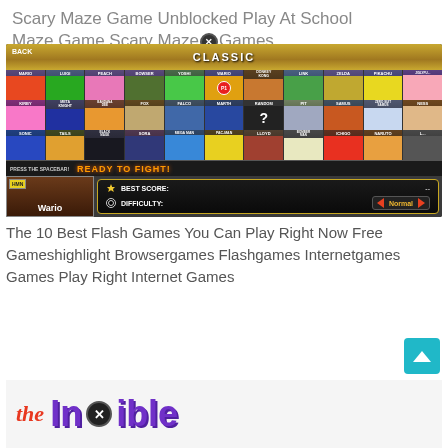Scary Maze Game Unblocked Play At School Maze Game Scary Maze Games
[Figure (screenshot): Super Smash Bros. fan game character select screen showing CLASSIC mode with characters including Mario, Luigi, Peach, Bowser, Yoshi, Wario, Donkey Kong, Link, Zelda, Pikachu, Jigglypuff, Kirby, Meta Knight, Bandana Dee, Fox, Falco, Marth, Random, Pit, Samus, Zero Suit Samus, Ness, Sonic, Tails, Black Mage, Sora, Mega Man, Pac-Man, Lloyd, Bomber Man, Ichigo, Naruto. Bottom panel shows Wario selected with BEST SCORE and DIFFICULTY: Normal settings. Ready to Fight! text displayed.]
The 10 Best Flash Games You Can Play Right Now Free Gameshighlight Browsergames Flashgames Internetgames Games Play Right Internet Games
[Figure (screenshot): Partial view of a logo/title image showing 'the' in red italic script and purple stylized text beginning with letters, partially cut off at bottom of page. A close/X button overlay is visible.]